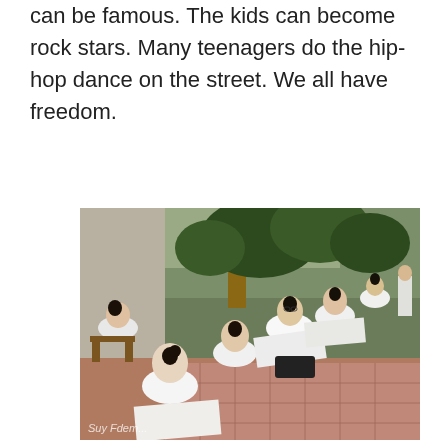can be famous. The kids can become rock stars. Many teenagers do the hip-hop dance on the street. We all have freedom.
[Figure (photo): Students in white school uniforms sitting outdoors on a tree-lined pathway, working on drawings/writing on large paper sheets placed on their laps and portable desks. The scene appears to be an outdoor art or exam session in an Asian school setting. A watermark 'Suy Fdem...' is visible at the bottom left.]